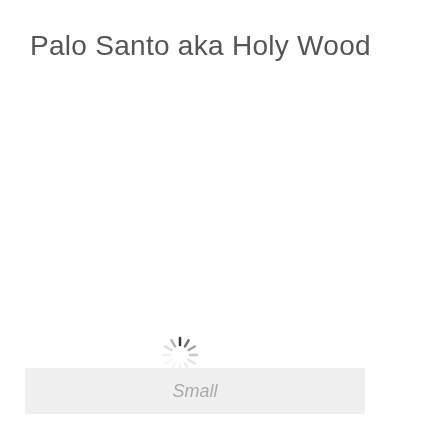Palo Santo aka Holy Wood
[Figure (other): Loading spinner icon (circular dashed spinner) centered in the content area]
Small